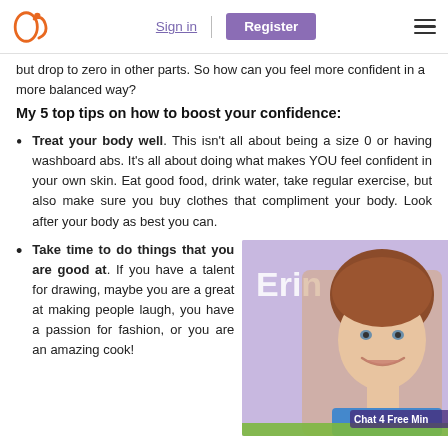Sign in | Register
but drop to zero in other parts. So how can you feel more confident in a more balanced way?
My 5 top tips on how to boost your confidence:
Treat your body well. This isn't all about being a size 0 or having washboard abs. It's all about doing what makes YOU feel confident in your own skin. Eat good food, drink water, take regular exercise, but also make sure you buy clothes that compliment your body. Look after your body as best you can.
Take time to do things that you are good at. If you have a talent for drawing, maybe you are a great at making people laugh, you have a passion for fashion, or you are an amazing cook!
[Figure (photo): Portrait photo of a smiling woman with short auburn hair (Erin), with a 'Chat 4 Free Min' label overlay, on a purple/lavender background]